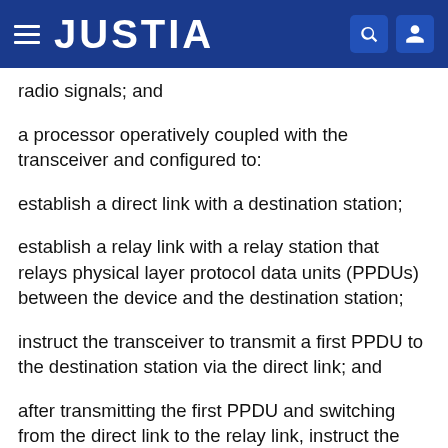JUSTIA
radio signals; and
a processor operatively coupled with the transceiver and configured to:
establish a direct link with a destination station;
establish a relay link with a relay station that relays physical layer protocol data units (PPDUs) between the device and the destination station;
instruct the transceiver to transmit a first PPDU to the destination station via the direct link; and
after transmitting the first PPDU and switching from the direct link to the relay link, instruct the transceiver to transmit a second PPDU to the relay station via the relay link so that the relay station forwards the second PPDU to the destination